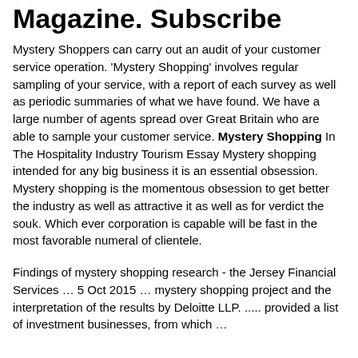Magazine. Subscribe
Mystery Shoppers can carry out an audit of your customer service operation. 'Mystery Shopping' involves regular sampling of your service, with a report of each survey as well as periodic summaries of what we have found. We have a large number of agents spread over Great Britain who are able to sample your customer service. Mystery Shopping In The Hospitality Industry Tourism Essay Mystery shopping intended for any big business it is an essential obsession. Mystery shopping is the momentous obsession to get better the industry as well as attractive it as well as for verdict the souk. Which ever corporation is capable will be fast in the most favorable numeral of clientele.
Findings of mystery shopping research - the Jersey Financial Services … 5 Oct 2015 … mystery shopping project and the interpretation of the results by Deloitte LLP. ..... provided a list of investment businesses, from which …